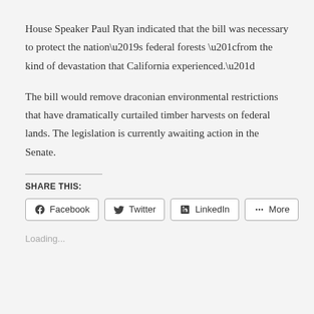House Speaker Paul Ryan indicated that the bill was necessary to protect the nation’s federal forests “from the kind of devastation that California experienced.”
The bill would remove draconian environmental restrictions that have dramatically curtailed timber harvests on federal lands. The legislation is currently awaiting action in the Senate.
SHARE THIS:
Facebook  Twitter  LinkedIn  More
Loading...